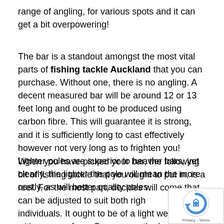range of angling, for various spots and it can get a bit overpowering!
The bar is a standout amongst the most vital parts of fishing tackle Auckland that you can purchase. Without one, there is no angling. A decent measured bar will be around 12 or 13 feet long and ought to be produced using carbon fibre. This will guarantee it is strong, and it is sufficiently long to cast effectively however not very long as to frighten you! Lighter poles are superior to heavier bars, yet clearly, the lighter the pole will mean the more costly, as will better quality poles.
When you have picked your bar, the following bit of fishing tackle that you ought to put in, is a reel. For the most part, decides will come that can be adjusted to suit both right and left gave individuals. It ought to be of a light weight and with an open face. Once more, the better the quality, the more...